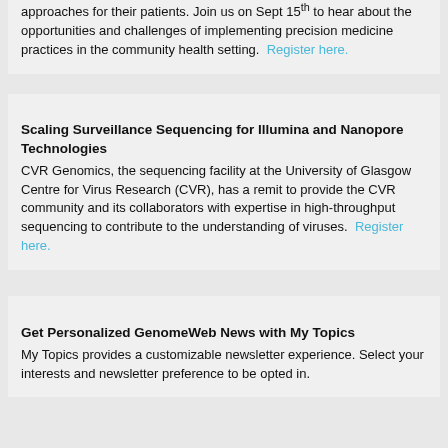approaches for their patients. Join us on Sept 15th to hear about the opportunities and challenges of implementing precision medicine practices in the community health setting. Register here.
Scaling Surveillance Sequencing for Illumina and Nanopore Technologies
CVR Genomics, the sequencing facility at the University of Glasgow Centre for Virus Research (CVR), has a remit to provide the CVR community and its collaborators with expertise in high-throughput sequencing to contribute to the understanding of viruses. Register here.
Get Personalized GenomeWeb News with My Topics
My Topics provides a customizable newsletter experience. Select your interests and newsletter preference to be opted in.